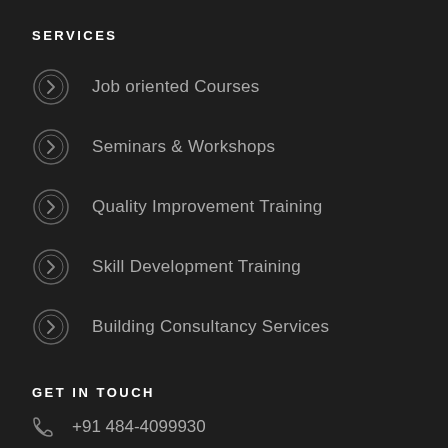SERVICES
Job oriented Courses
Seminars & Workshops
Quality Improvement Training
Skill Development Training
Building Consultancy Services
GET IN TOUCH
+91 484-4099930